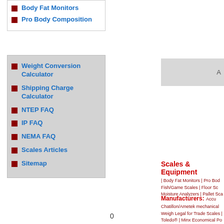Body Fat Monitors
Pro Body Composition
Weight Conversion Calculator
Shipping Charge Calculator
NTEP FAQ
IP FAQ
NEMA FAQ
Scales Articles
Sitemap
[Figure (other): Advertisement bar partially visible on right side]
Scales & Equipment
| Body Fat Monitors | Pro Bod Fish/Game Scales | Floor Sc Moisture Analyzers | Pallet Sca
Manufacturers:
Accu Chatillon/Ametek mechanical Weigh Legal for Trade Scales | Toledo® | Minx Economical Po
0